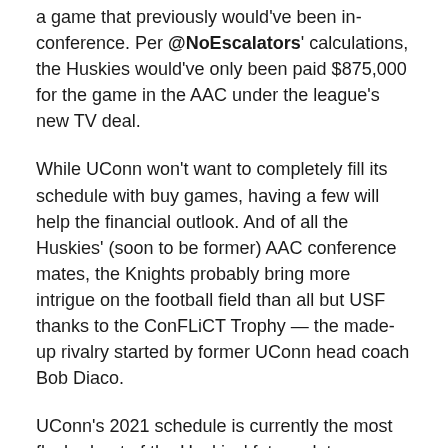a game that previously would've been in-conference. Per @NoEscalators' calculations, the Huskies would've only been paid $875,000 for the game in the AAC under the league's new TV deal.
While UConn won't want to completely fill its schedule with buy games, having a few will help the financial outlook. And of all the Huskies' (soon to be former) AAC conference mates, the Knights probably bring more intrigue on the football field than all but USF thanks to the ConFLiCT Trophy — the made-up rivalry started by former UConn head coach Bob Diaco.
UConn's 2021 schedule is currently the most fleshed-out of the Huskies' future slates. However, next year's schedule still needs a lot of work with eight games still open.